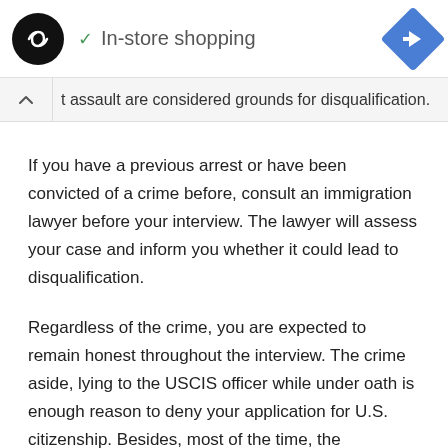In-store shopping
t assault are considered grounds for disqualification.
If you have a previous arrest or have been convicted of a crime before, consult an immigration lawyer before your interview. The lawyer will assess your case and inform you whether it could lead to disqualification.
Regardless of the crime, you are expected to remain honest throughout the interview. The crime aside, lying to the USCIS officer while under oath is enough reason to deny your application for U.S. citizenship. Besides, most of the time, the interviewers already have your records before asking these questions.